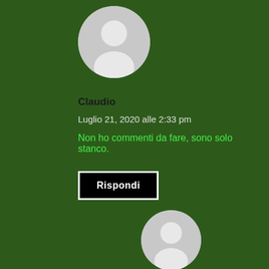[Figure (illustration): Circular grey user avatar placeholder icon at the top]
Claudio
Luglio 21, 2020 alle 2:33 pm
Non ho commenti da fare, sono solo stanco.
Rispondi
[Figure (illustration): Circular grey user avatar placeholder icon at the bottom]